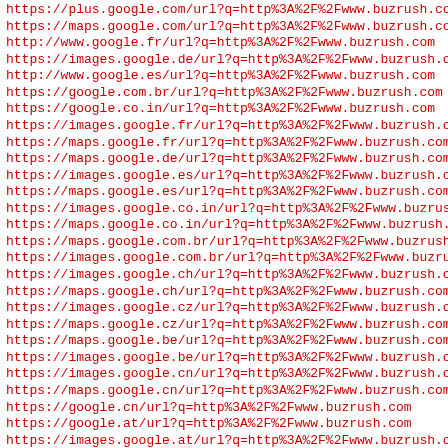https://plus.google.com/url?q=http%3A%2F%2Fwww.buzrush.com
https://maps.google.com/url?q=http%3A%2F%2Fwww.buzrush.com
http://www.google.fr/url?q=http%3A%2F%2Fwww.buzrush.com
https://images.google.de/url?q=http%3A%2F%2Fwww.buzrush.com
http://www.google.es/url?q=http%3A%2F%2Fwww.buzrush.com
https://google.com.br/url?q=http%3A%2F%2Fwww.buzrush.com
https://google.co.in/url?q=http%3A%2F%2Fwww.buzrush.com
https://images.google.fr/url?q=http%3A%2F%2Fwww.buzrush.com
https://maps.google.fr/url?q=http%3A%2F%2Fwww.buzrush.com
https://maps.google.de/url?q=http%3A%2F%2Fwww.buzrush.com
https://images.google.es/url?q=http%3A%2F%2Fwww.buzrush.com
https://maps.google.es/url?q=http%3A%2F%2Fwww.buzrush.com
https://images.google.co.in/url?q=http%3A%2F%2Fwww.buzrush.com
https://maps.google.co.in/url?q=http%3A%2F%2Fwww.buzrush.com
https://maps.google.com.br/url?q=http%3A%2F%2Fwww.buzrush.com
https://images.google.com.br/url?q=http%3A%2F%2Fwww.buzrush.com
https://images.google.ch/url?q=http%3A%2F%2Fwww.buzrush.com
https://maps.google.ch/url?q=http%3A%2F%2Fwww.buzrush.com
https://images.google.cz/url?q=http%3A%2F%2Fwww.buzrush.com
https://maps.google.cz/url?q=http%3A%2F%2Fwww.buzrush.com
https://maps.google.be/url?q=http%3A%2F%2Fwww.buzrush.com
https://images.google.be/url?q=http%3A%2F%2Fwww.buzrush.com
https://images.google.cn/url?q=http%3A%2F%2Fwww.buzrush.com
https://maps.google.cn/url?q=http%3A%2F%2Fwww.buzrush.com
https://google.cn/url?q=http%3A%2F%2Fwww.buzrush.com
https://google.at/url?q=http%3A%2F%2Fwww.buzrush.com
https://images.google.at/url?q=http%3A%2F%2Fwww.buzrush.com
https://maps.google.at/url?q=http%3A%2F%2Fwww.buzrush.com
https://images.google.se/url?q=http%3A%2F%2Fwww.buzrush.com
https://images.google.ru/url?q=http%3A%2F%2Fwww.buzrush.com